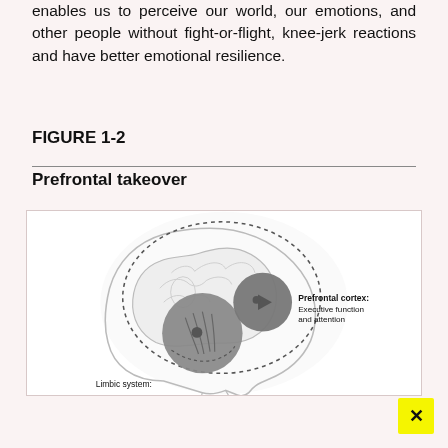enables us to perceive our world, our emotions, and other people without fight-or-flight, knee-jerk reactions and have better emotional resilience.
FIGURE 1-2
Prefrontal takeover
[Figure (illustration): A side-profile diagram of a human head showing the brain with two highlighted regions: a large dark grey circle representing the Limbic system (lower/central area) and a smaller dark grey circle representing the Prefrontal cortex (front area). A dashed ellipse outlines the brain region. Labels read: 'Prefrontal cortex: Executive function and attention' and 'Limbic system:'.]